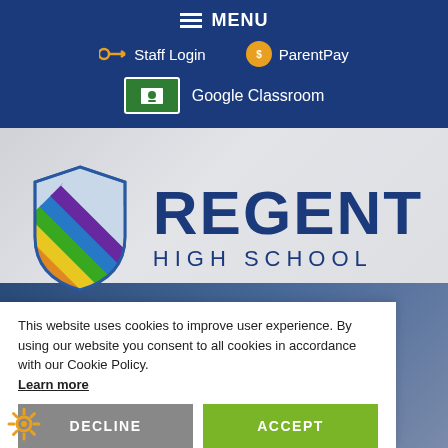MENU
Staff Login
ParentPay
Google Classroom
[Figure (logo): Regent High School logo with rainbow-striped shield and text REGENT HIGH SCHOOL]
This website uses cookies to improve user experience. By using our website you consent to all cookies in accordance with our Cookie Policy. Learn more
DECLINE
ACCEPT